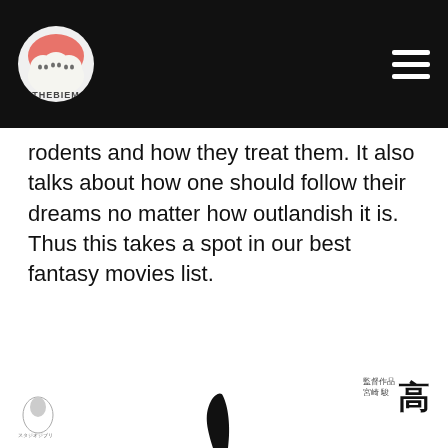THEBIEM logo and navigation
rodents and how they treat them. It also talks about how one should follow their dreams no matter how outlandish it is. Thus this takes a spot in our best fantasy movies list.
[Figure (other): Bottom strip with logos and Japanese text partially visible at bottom of page]